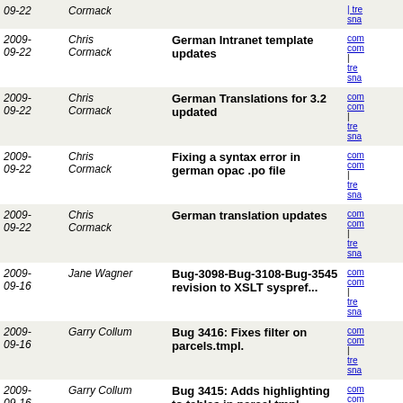| Date | Author | Message | Links |
| --- | --- | --- | --- |
| 2009-09-22 | Cormack |  | com
com
| tre
sna |
| 2009-09-22 | Chris Cormack | German Intranet template updates | com
com
| tre
sna |
| 2009-09-22 | Chris Cormack | German Translations for 3.2 updated | com
com
| tre
sna |
| 2009-09-22 | Chris Cormack | Fixing a syntax error in german opac .po file | com
com
| tre
sna |
| 2009-09-22 | Chris Cormack | German translation updates | com
com
| tre
sna |
| 2009-09-16 | Jane Wagner | Bug-3098-Bug-3108-Bug-3545 revision to XSLT syspref... | com
com
| tre
sna |
| 2009-09-16 | Garry Collum | Bug 3416: Fixes filter on parcels.tmpl. | com
com
| tre
sna |
| 2009-09-16 | Garry Collum | Bug 3415: Adds highlighting to tables in parcel.tmpl | com
com
| tre
sna |
| 2009-09-16 | Garry Collum | Bug 3414: Cleanup and xhthml correction of parcels... | com
com
| tre
sna |
| 2009-09-16 | Galen Charlton | bug 3436: tweak cache settings for patron images | com
com
| tre
sna |
| 2009-09-16 | Galen Charlton | DB rev 061: added ShowPatronImageInWebBasedSelfCheck | com
com
| tre
sna |